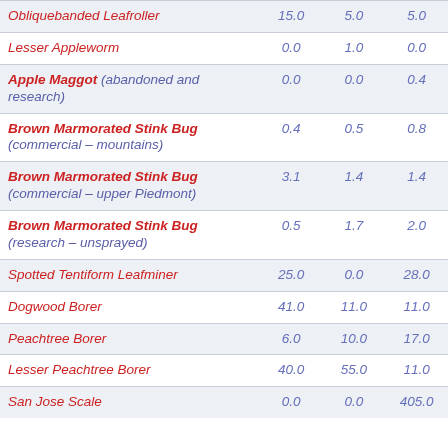| Obliquebanded Leafroller | 15.0 | 5.0 | 5.0 |
| Lesser Appleworm | 0.0 | 1.0 | 0.0 |
| Apple Maggot (abandoned and research) | 0.0 | 0.0 | 0.4 |
| Brown Marmorated Stink Bug (commercial – mountains) | 0.4 | 0.5 | 0.8 |
| Brown Marmorated Stink Bug (commercial – upper Piedmont) | 3.1 | 1.4 | 1.4 |
| Brown Marmorated Stink Bug (research – unsprayed) | 0.5 | 1.7 | 2.0 |
| Spotted Tentiform Leafminer | 25.0 | 0.0 | 28.0 |
| Dogwood Borer | 41.0 | 11.0 | 11.0 |
| Peachtree Borer | 6.0 | 10.0 | 17.0 |
| Lesser Peachtree Borer | 40.0 | 55.0 | 11.0 |
| San Jose Scale | 0.0 | 0.0 | 405.0 |